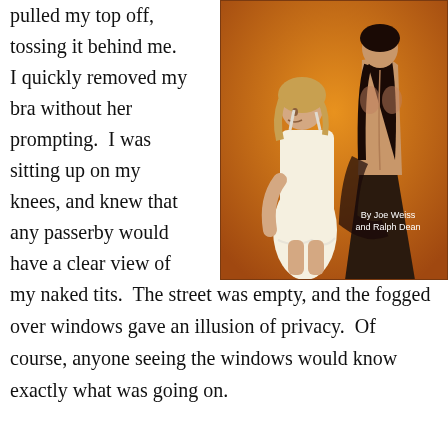pulled my top off, tossing it behind me. I quickly removed my bra without her prompting.  I was sitting up on my knees, and knew that any passerby would have a clear view of
[Figure (illustration): Vintage pulp fiction book cover illustration showing two women. One woman in a white slip/dress looks back over her shoulder, the other stands with her bare back to the viewer wearing a dark skirt. Orange/warm background. Text reads 'By Joe Weiss and Ralph Dean'.]
my naked tits.  The street was empty, and the fogged over windows gave an illusion of privacy.  Of course, anyone seeing the windows would know exactly what was going on.